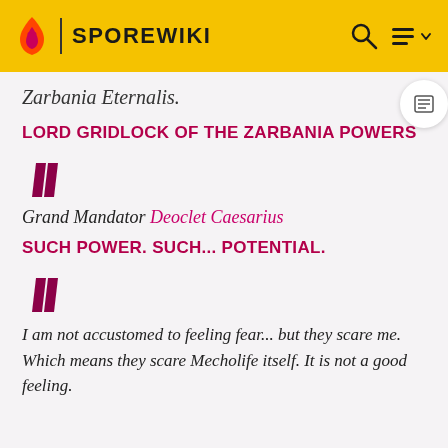SPOREWIKI
Zarbania Eternalis.
LORD GRIDLOCK OF THE ZARBANIA POWERS
[Figure (illustration): Large decorative double quotation mark in dark magenta/maroon color]
Grand Mandator Deoclet Caesarius
SUCH POWER. SUCH... POTENTIAL.
[Figure (illustration): Large decorative double quotation mark in dark magenta/maroon color]
I am not accustomed to feeling fear... but they scare me. Which means they scare Mecholife itself. It is not a good feeling.